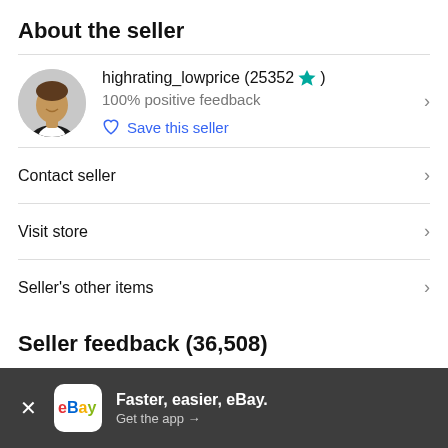About the seller
highrating_lowprice (25352 ★)
100% positive feedback
Save this seller
Contact seller
Visit store
Seller's other items
Seller feedback (36,508)
Faster, easier, eBay. Get the app →